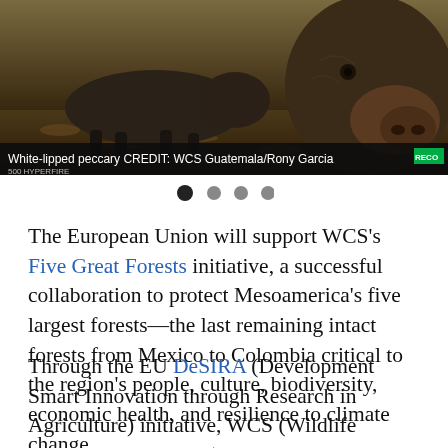[Figure (photo): Wildlife camera trap photo of a white-lipped peccary (a dark-furred pig-like animal) walking on leaf-covered ground. The animal's body is on the left side and a close-up of its snout/face is visible on the right. Caption reads: White-lipped peccary CREDIT: WCS Guatemala/Rony Garcia. A green RECO badge and '500 HYPERFIRE' text appear on the image.]
The European Union will support WCS's Five Great Forests initiative, a successful collaboration to protect Mesoamerica's five largest forests—the last remaining intact forests from Mexico to Colombia critical to the region's people, culture, biodiversity, economic health, and resilience to climate change.
Through the EU DeSIRA (Development Smart Innovation through Research in Agriculture) initiative, WCS (Wildlife Conservation Society) will collaborate with...